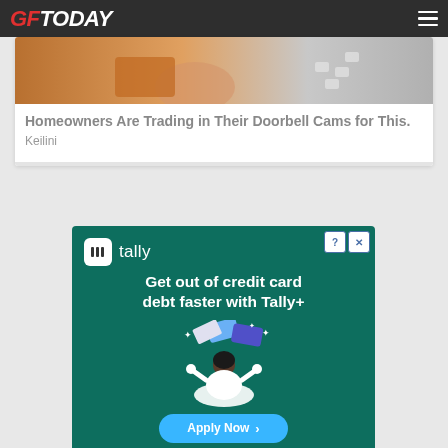GFToday
[Figure (screenshot): GFToday website screenshot showing a card with a doorbell cam product image]
Homeowners Are Trading in Their Doorbell Cams for This.
Keilini
[Figure (infographic): Tally advertisement: Get out of credit card debt faster with Tally+. Features Apply Now button and disclaimer text from Tally Technologies, Inc. NMLS #1492782.]
Tally Technologies, Inc. NMLS #1492782 (nmlsconsumeraccess.org). Lines of credit issued by Cross River Bank, Member FDIC, or Tally Technologies, Inc. ("Tally"), as noted in your line of credit agreement. Lines of credit not available in all states.